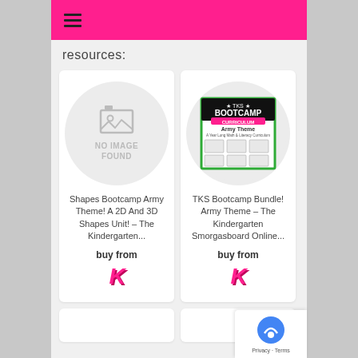☰ (hamburger menu)
resources:
[Figure (other): Product card: NO IMAGE FOUND placeholder with grey image icon, title 'Shapes Bootcamp Army Theme! A 2D And 3D Shapes Unit! – The Kindergarten...', buy from label with K logo]
[Figure (other): Product card: TKS Bootcamp Curriculum Army Theme image with green border, title 'TKS Bootcamp Bundle! Army Theme – The Kindergarten Smorgasboard Online...', buy from label with K logo]